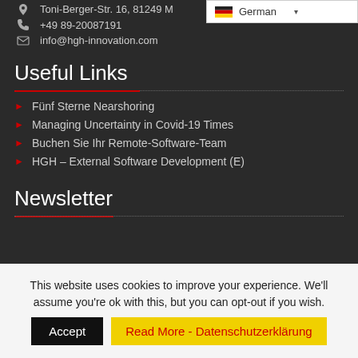Toni-Berger-Str. 16, 81249 M...
+49 89-20087191
info@hgh-innovation.com
Useful Links
Fünf Sterne Nearshoring
Managing Uncertainty in Covid-19 Times
Buchen Sie Ihr Remote-Software-Team
HGH – External Software Development (E)
Newsletter
This website uses cookies to improve your experience. We'll assume you're ok with this, but you can opt-out if you wish.
Accept
Read More - Datenschutzerklärung